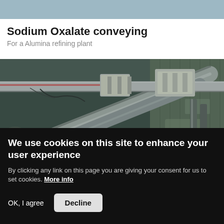Sodium Oxalate conveying
For a Alumina refining plant
[Figure (photo): Industrial conveying pipes and equipment inside an alumina refining plant facility, showing large metal pipes crossing at angles within a warehouse-like structure with teal/green tinted lighting.]
We use cookies on this site to enhance your user experience
By clicking any link on this page you are giving your consent for us to set cookies. More info
OK, I agree
Decline